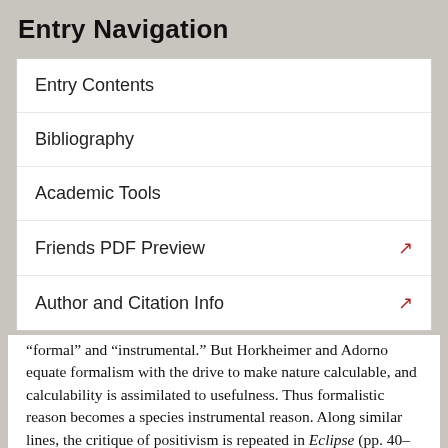Entry Navigation
Entry Contents
Bibliography
Academic Tools
Friends PDF Preview
Author and Citation Info
“formal” and “instrumental.” But Horkheimer and Adorno equate formalism with the drive to make nature calculable, and calculability is assimilated to usefulness. Thus formalistic reason becomes a species instrumental reason. Along similar lines, the critique of positivism is repeated in Eclipse (pp. 40–62). All parts of nature that cannot be calculated and formalized fall out of the Enlightenment's scientific picture of the world. This scientific picture is further reproduced through activities which seek to dominate nature, thus instrumental-scientific activity creates a reality to fit this picture. The inseparable drive of instrumental reason causes this